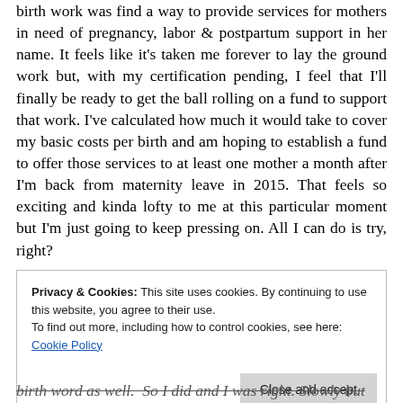birth work was find a way to provide services for mothers in need of pregnancy, labor & postpartum support in her name. It feels like it's taken me forever to lay the ground work but, with my certification pending, I feel that I'll finally be ready to get the ball rolling on a fund to support that work. I've calculated how much it would take to cover my basic costs per birth and am hoping to establish a fund to offer those services to at least one mother a month after I'm back from maternity leave in 2015. That feels so exciting and kinda lofty to me at this particular moment but I'm just going to keep pressing on. All I can do is try, right?
Privacy & Cookies: This site uses cookies. By continuing to use this website, you agree to their use. To find out more, including how to control cookies, see here: Cookie Policy
birth word as well. So I did and I was right. Slowly but